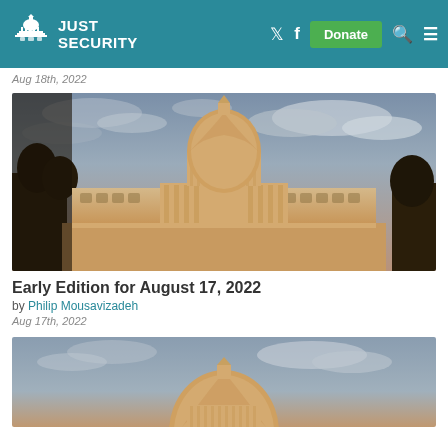Just Security
Aug 18th, 2022
[Figure (photo): US Capitol building with dome against cloudy sky at dusk/golden hour]
Early Edition for August 17, 2022
by Philip Mousavizadeh
Aug 17th, 2022
[Figure (photo): US Capitol dome against cloudy sky, partially cropped at bottom of page]